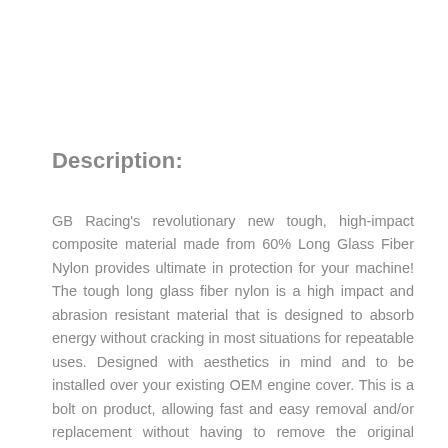Description:
GB Racing's revolutionary new tough, high-impact composite material made from 60% Long Glass Fiber Nylon provides ultimate in protection for your machine! The tough long glass fiber nylon is a high impact and abrasion resistant material that is designed to absorb energy without cracking in most situations for repeatable uses. Designed with aesthetics in mind and to be installed over your existing OEM engine cover. This is a bolt on product, allowing fast and easy removal and/or replacement without having to remove the original cover.